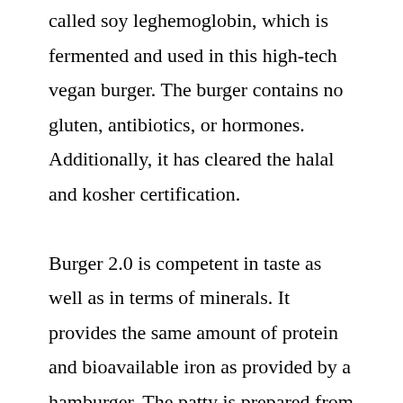called soy leghemoglobin, which is fermented and used in this high-tech vegan burger. The burger contains no gluten, antibiotics, or hormones. Additionally, it has cleared the halal and kosher certification.

Burger 2.0 is competent in taste as well as in terms of minerals. It provides the same amount of protein and bioavailable iron as provided by a hamburger. The patty is prepared from the extracts of plant protein. The burger tastes equally delicious as